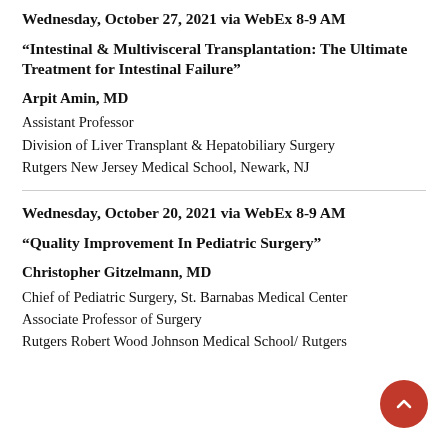Wednesday, October 27, 2021 via WebEx 8-9 AM
“Intestinal & Multivisceral Transplantation: The Ultimate Treatment for Intestinal Failure”
Arpit Amin, MD
Assistant Professor
Division of Liver Transplant & Hepatobiliary Surgery
Rutgers New Jersey Medical School, Newark, NJ
Wednesday, October 20, 2021 via WebEx 8-9 AM
“Quality Improvement In Pediatric Surgery”
Christopher Gitzelmann, MD
Chief of Pediatric Surgery, St. Barnabas Medical Center
Associate Professor of Surgery
Rutgers Robert Wood Johnson Medical School/ Rutgers